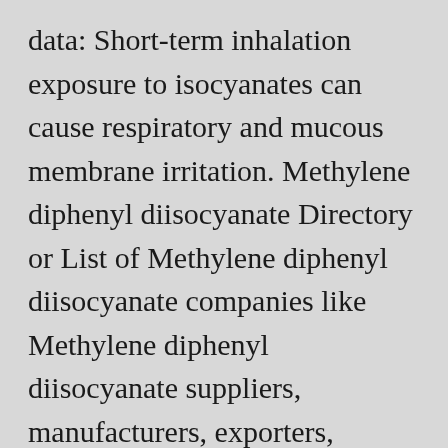data: Short-term inhalation exposure to isocyanates can cause respiratory and mucous membrane irritation. Methylene diphenyl diisocyanate Directory or List of Methylene diphenyl diisocyanate companies like Methylene diphenyl diisocyanate suppliers, manufacturers, exporters, importers, wholesalers, distributors, traders, dealers etc. Assessment and control of exposures to polymeric methylene diphenyl diisocyanate (pMDI) in spray polyurethane foam applicators Int J Hyg Environ Health . Saving Lives, Protecting People, The National Institute for Occupational Safety and Health (NIOSH), National Institute for Occupational Safety and Health ​— NIOSH Protecting...